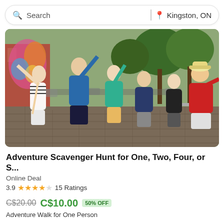Search | Kingston, ON
[Figure (photo): Group of people doing a fun pose on a brick plaza, leaning sideways with arms raised, in an urban outdoor setting with trees and a colorful mural in the background.]
Adventure Scavenger Hunt for One, Two, Four, or S...
Online Deal
3.9 ★★★★☆ 15 Ratings
C$20.00  C$10.00  50% OFF
Adventure Walk for One Person